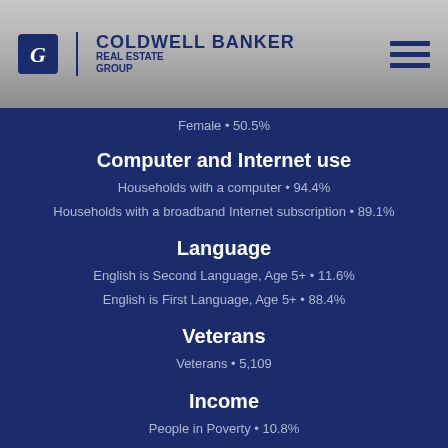Coldwell Banker Real Estate Group
Female • 50.5%
Computer and Internet use
Households with a computer • 94.4%
Households with a broadband Internet subscription • 89.1%
Language
English is Second Language, Age 5+ • 11.6%
English is First Language, Age 5+ • 88.4%
Veterans
Veterans • 5,109
Income
People in Poverty • 10.8%